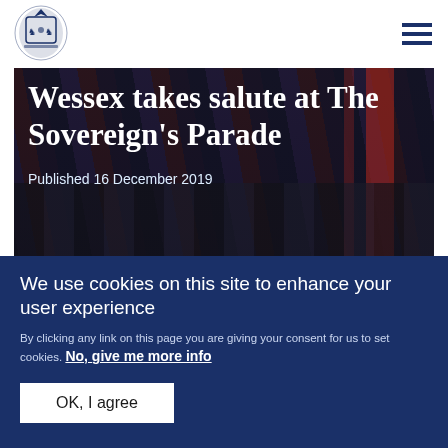[Royal Logo] [Hamburger Menu]
[Figure (photo): Hero image showing military parade boots/legs marching, with dark overlay. Title overlay reads: 'Wessex takes salute at The Sovereign's Parade'. Published 16 December 2019.]
Wessex takes salute at The Sovereign's Parade
Published 16 December 2019
[Figure (photo): Partially visible second image showing what appears to be a ceremonial indoor setting with blue/gold tones.]
We use cookies on this site to enhance your user experience
By clicking any link on this page you are giving your consent for us to set cookies. No, give me more info
OK, I agree